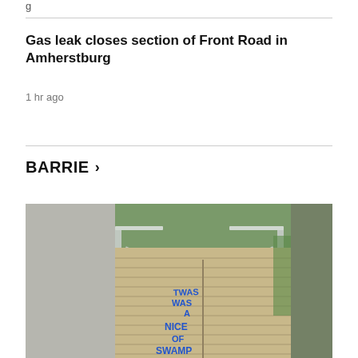Gas leak closes section of Front Road in Amherstburg
1 hr ago
BARRIE >
[Figure (photo): A wooden boardwalk with metal railings, covered in blue graffiti. The text on the boardwalk reads partially visible words. The background shows greenery. The photo has blurred edges on both sides.]